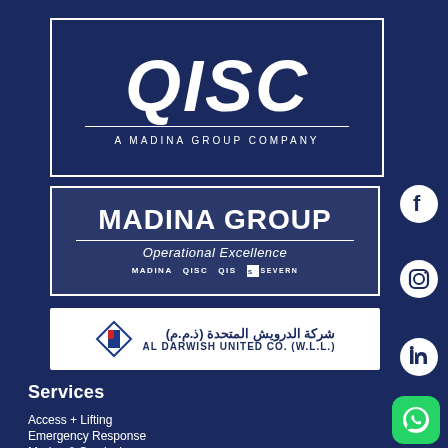[Figure (logo): QISC logo in white text inside a white-bordered rectangle on dark navy background, with tagline 'A MADINA GROUP COMPANY']
[Figure (logo): Madina Group logo box with 'MADINA GROUP' in large white bold text, 'Operational Excellence' in italic, and sub-brand logos: MADINA, QISC, QIS, SEVERN]
[Figure (logo): Al Darwish United Co. (W.L.L.) logo on white background with Arabic text and geometric diamond logo mark]
[Figure (logo): Social media icons: Facebook, Instagram, LinkedIn on right side]
Services
Access + Lifting
Emergency Response
Marine & Survival
[Figure (logo): WhatsApp green button in bottom right corner]